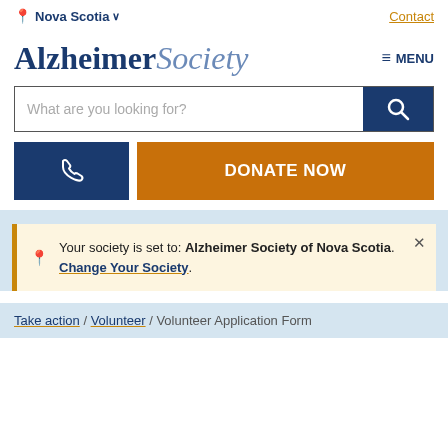Nova Scotia  Contact
Alzheimer Society
[Figure (screenshot): Search bar with placeholder text 'What are you looking for?' and a dark blue search button with magnifying glass icon]
[Figure (screenshot): Phone button (dark blue) and DONATE NOW button (orange)]
Your society is set to: Alzheimer Society of Nova Scotia. Change Your Society.
Take action / Volunteer / Volunteer Application Form